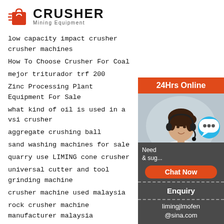[Figure (logo): Crusher Mining Equipment logo with red shopping cart icon and bold CRUSHER text]
low capacity impact crusher crusher machines
How To Choose Crusher For Coal
mejor triturador trf 200
Zinc Processing Plant Equipment For Sale
what kind of oil is used in a vsi crusher
aggregate crushing ball
sand washing machines for sale
quarry use LIMING cone crusher
universal cutter and tool grinding machine
crusher machine used malaysia
rock crusher machine manufacturer malaysia
exraction of copper iron from its ore
[Figure (illustration): Sidebar with 24Hrs Online header, photo of woman with headset, chat bubble, Need & suggestions text, Chat Now button, Enquiry section, and limingjlmofen@sina.com email]